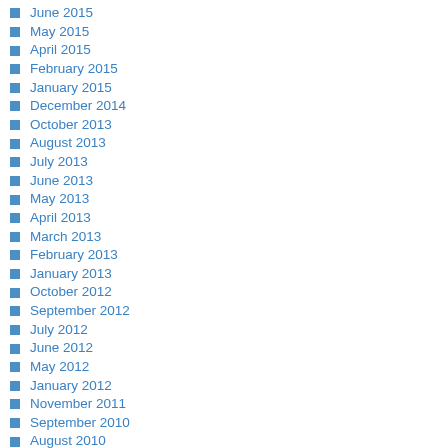June 2015
May 2015
April 2015
February 2015
January 2015
December 2014
October 2013
August 2013
July 2013
June 2013
May 2013
April 2013
March 2013
February 2013
January 2013
October 2012
September 2012
July 2012
June 2012
May 2012
January 2012
November 2011
September 2010
August 2010
May 2010